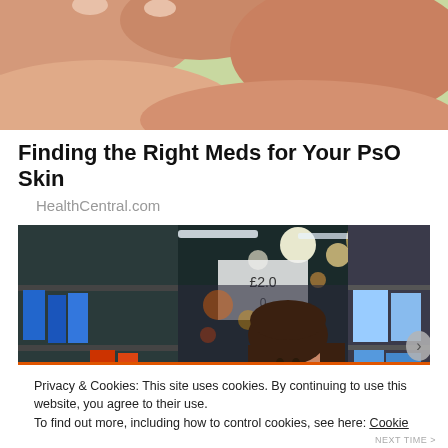[Figure (photo): Close-up of a hand with skin condition against green background]
Finding the Right Meds for Your PsO Skin
HealthCentral.com
[Figure (photo): Woman shopping in a pharmacy/grocery store aisle, looking at product on shelf]
Privacy & Cookies: This site uses cookies. By continuing to use this website, you agree to their use.
To find out more, including how to control cookies, see here: Cookie Policy
Close and accept